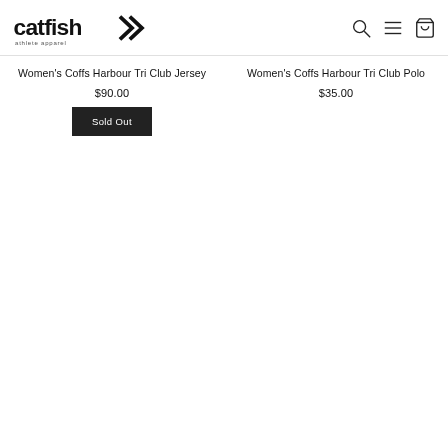catfish athlete apparel
Women's Coffs Harbour Tri Club Jersey
$90.00
Women's Coffs Harbour Tri Club Polo
$35.00
Sold Out